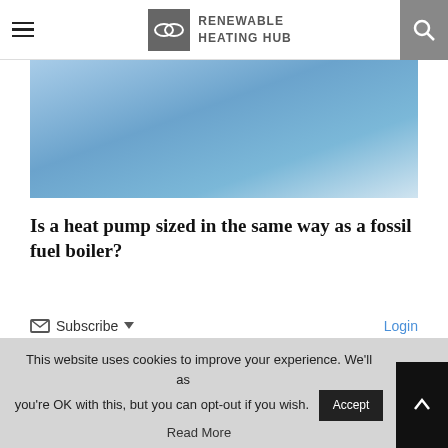Renewable Heating Hub
[Figure (photo): Hero image showing a person with a blue-tinted background, partially cropped]
Is a heat pump sized in the same way as a fossil fuel boiler?
Subscribe  Login
This website uses cookies to improve your experience. We'll assume you're OK with this, but you can opt-out if you wish.
Read More